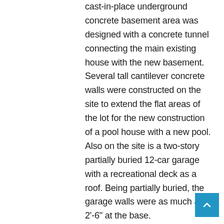cast-in-place underground concrete basement area was designed with a concrete tunnel connecting the main existing house with the new basement. Several tall cantilever concrete walls were constructed on the site to extend the flat areas of the lot for the new construction of a pool house with a new pool. Also on the site is a two-story partially buried 12-car garage with a recreational deck as a roof. Being partially buried, the garage walls were as much as 2'-6" at the base.

McNeil Engineering performed the structural design for the approximately 3000 sq. ft pool house. Constructed of timber framing, arcs, and concrete